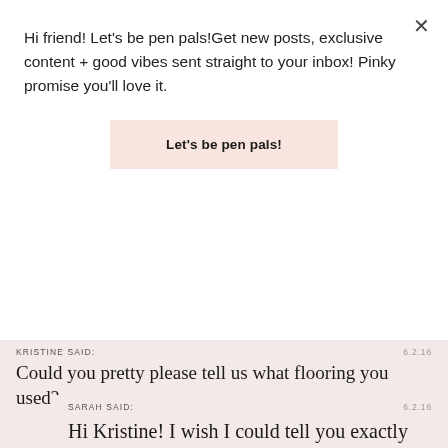Hi friend! Let's be pen pals!Get new posts, exclusive content + good vibes sent straight to your inbox! Pinky promise you'll love it.
Let's be pen pals!
KRISTINE SAID:
6.2.16
Could you pretty please tell us what flooring you used?
REPLY
SARAH SAID:
6.2.16
Hi Kristine! I wish I could tell you exactly the flooring we used.